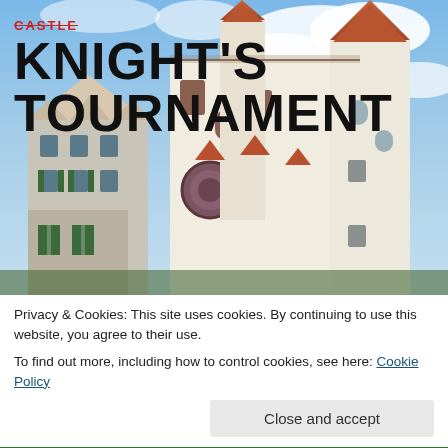[Figure (photo): Photo of a medieval German castle/building with pointed towers, terracotta-tiled roofs with green spires, white walls, arched windows, set against a blue cloudy sky. Title text 'KNIGHT'S TOURNAMENT' overlaid on upper left. Watermark 'TRAVEL MAMA' on right side rotated vertically.]
KNIGHT'S TOURNAMENT
Privacy & Cookies: This site uses cookies. By continuing to use this website, you agree to their use.
To find out more, including how to control cookies, see here: Cookie Policy
Close and accept